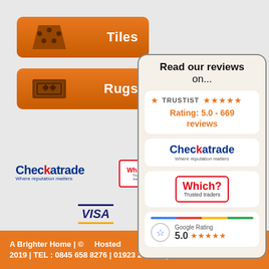[Figure (illustration): Orange button with tile icon and label 'Tiles']
[Figure (illustration): Orange button with rug icon and label 'Rugs']
[Figure (infographic): Review popup overlay reading 'Read our reviews on...' with Trustist 5-star rating (5.0 - 669 reviews), Checkatrade logo, Which? Trusted traders badge, and Google Rating 5.0 stars]
[Figure (logo): Checkatrade - Where reputation matters logo]
[Figure (logo): Which? Trusted traders badge]
[Figure (logo): NCCA National Carpet Cleaning Association logo (partially visible)]
[Figure (logo): VISA payment logo]
[Figure (logo): MasterCard payment logo]
[Figure (logo): Maestro payment logo (partially visible)]
A Brighter Home | © Hosted 2019 | TEL : 0845 658 8276 | 01923 271448 |